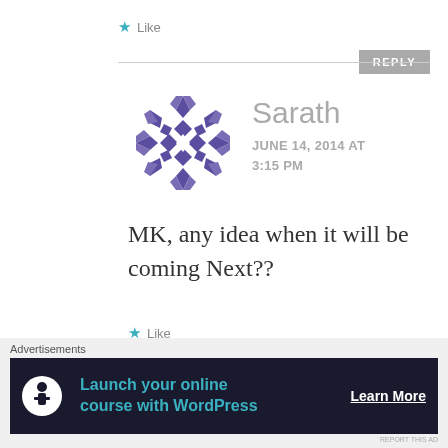★ Like
REPLY
[Figure (illustration): Purple geometric snowflake/kaleidoscope avatar for user Sarath]
Sarath
JUNE 14, 2014 AT 3:15 PM
MK, any idea when it will be coming Next??
★ Like
[Figure (infographic): Advertisement banner: Launch your online course with WordPress — Learn More]
Advertisements